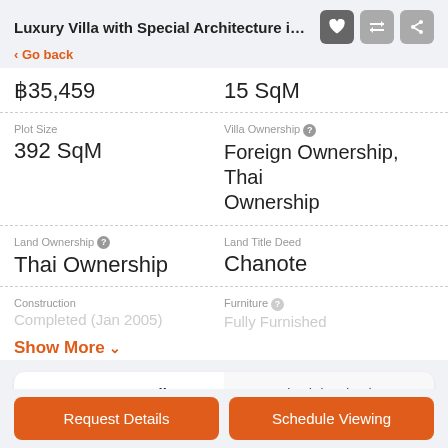Luxury Villa with Special Architecture in Jomtien P...
< Go back
฿35,459
15 SqM
Plot Size
392 SqM
Villa Ownership
Foreign Ownership, Thai Ownership
Land Ownership
Thai Ownership
Land Title Deed
Chanote
Construction
Furniture
Show More
Request Details
Schedule Viewing
Name
Request Details
Schedule Viewing